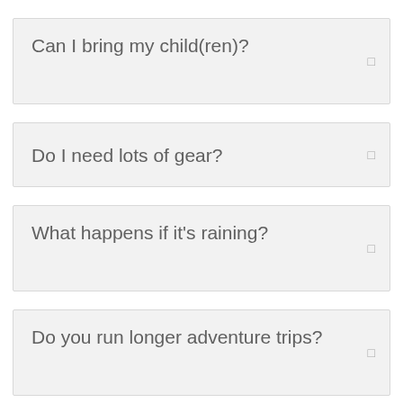Can I bring my child(ren)?
Do I need lots of gear?
What happens if it's raining?
Do you run longer adventure trips?